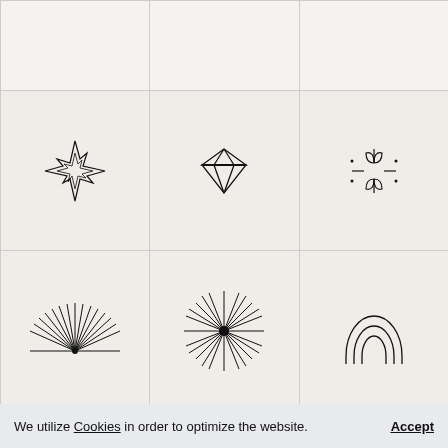[Figure (illustration): 3x3 grid of ornament icons. Top row: three empty/blank cells. Middle row: 8-pointed star outline, diamond gem outline, decorative floral/cross shape with dots. Bottom row: sunburst rising from horizon line, starburst with dark center, double-line arch shape.]
Ornaments
Additionally to the letters this font family contains a big set of ornaments, borders, catchwords and symbols fitting to the
We utilize Cookies in order to optimize the website.
Accept